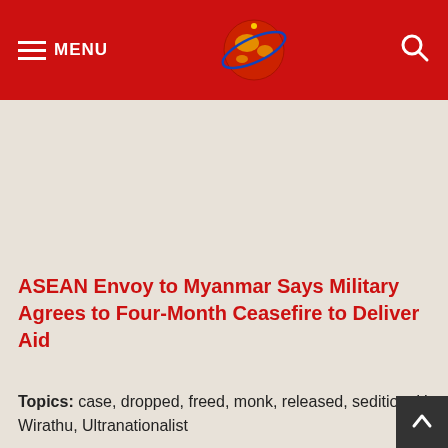MENU [logo] [search]
ASEAN Envoy to Myanmar Says Military Agrees to Four-Month Ceasefire to Deliver Aid
Topics: case, dropped, freed, monk, released, sedition, U Wirathu, Ultranationalist